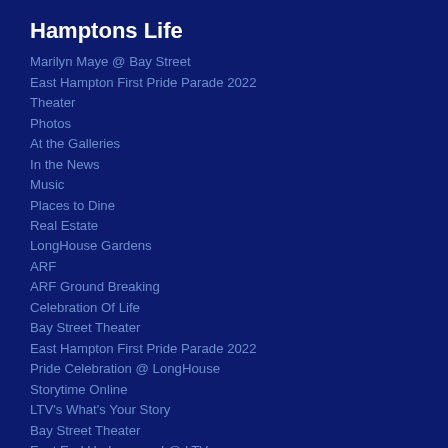Hamptons Life
Marilyn Maye @ Bay Street
East Hampton First Pride Parade 2022
Theater
Photos
At the Galleries
In the News
Music
Places to Dine
Real Estate
LongHouse Gardens
ARF
ARF Ground Breaking
Celebration Of Life
Bay Street Theater
East Hampton First Pride Parade 2022
Pride Celebration @ LongHouse
Storytime Online
LTV's What's Your Story
Bay Street Theater
East End Underground @ LTV
Gurney's Montauk New Year's Eve 2020
ARF Halloween Pawty
Kimberly Goff @ Ezra Gallery
Hampton Classic